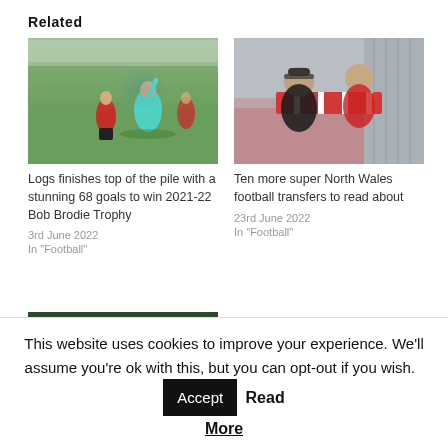Related
[Figure (photo): Football referee running with arm raised, players in red and black kit on green pitch]
Logs finishes top of the pile with a stunning 68 goals to win 2021-22 Bob Brodie Trophy
3rd June 2022
In "Football"
[Figure (photo): Two men holding a red and white striped football scarf in stadium seats]
Ten more super North Wales football transfers to read about
23rd June 2022
In "Football"
[Figure (photo): Football match action near goalpost, players in blue and yellow/green kits]
This website uses cookies to improve your experience. We'll assume you're ok with this, but you can opt-out if you wish.
Accept
Read More